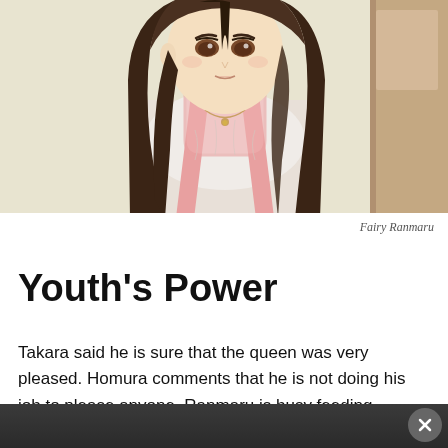[Figure (illustration): Anime/manga style illustration of a young woman with long dark brown hair, wearing a white top and a pink apron with a small heart-shaped pendant necklace, standing in front of a light-colored background with a door visible on the right side. She has a calm, gentle expression.]
Fairy Ranmaru
Youth's Power
Takara said he is sure that the queen was very pleased. Homura comments that he is not doing his job to please anyone. Ranmaru is busy feeding Bakkun marshmallows, and Uruu came back. He comments that the words of th